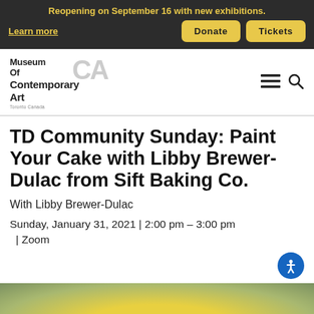Reopening on September 16 with new exhibitions.
Learn more
Donate  Tickets
[Figure (logo): Museum of Contemporary Art Toronto Canada (MOCA) logo in black and grey]
TD Community Sunday: Paint Your Cake with Libby Brewer-Dulac from Sift Baking Co.
With Libby Brewer-Dulac
Sunday, January 31, 2021 | 2:00 pm – 3:00 pm | Zoom
[Figure (photo): Partial view of a cake or baked good at bottom of page]